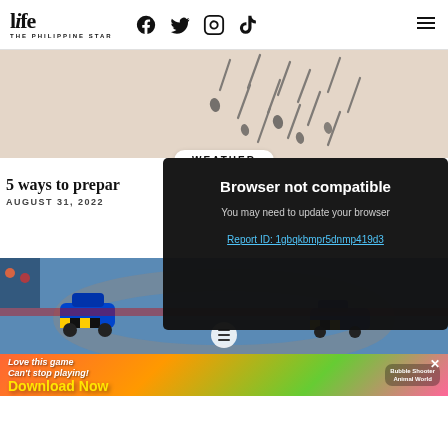life THE PHILIPPINE STAR — navigation with Facebook, Twitter, Instagram, TikTok icons
[Figure (illustration): Weather illustration: beige/tan background with falling rain drops drawn in a minimalist style. WEATHER badge label overlaid at bottom center.]
5 ways to prepar
AUGUST 31, 2022
[Figure (screenshot): Browser not compatible error overlay on dark background. Text: 'Browser not compatible', 'You may need to update your browser', 'Report ID: 1gbqkbmpr5dnmp419d3']
[Figure (photo): Photo strip showing a go-kart race scene with blue and yellow kart in a track, spectators visible, aerial/overhead view.]
[Figure (infographic): Advertisement banner: 'Love this game Can't stop playing! Download Now' with colorful background and Bubble Shooter Animal World game imagery.]